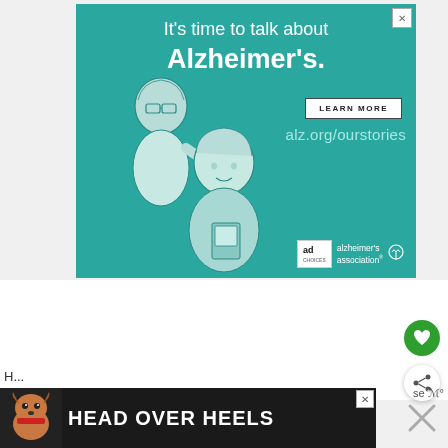[Figure (illustration): Alzheimer's Association advertisement banner. Teal/green background with white text reading "It's time to talk about Alzheimer's." with a LEARN MORE button, alz.org/ourstories URL, illustrated drawing of two elderly people, Alzheimer's Association logo with 'ad' badge.]
[Figure (illustration): Head Over Heels bottom banner advertisement on dark background with illustrated dog and bold white text 'HEAD OVER HEELS']